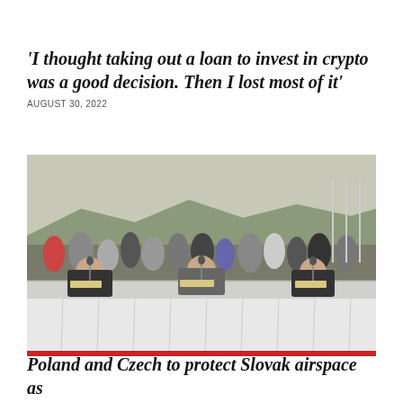'I thought taking out a loan to invest in crypto was a good decision. Then I lost most of it'
AUGUST 30, 2022
[Figure (photo): Three officials or dignitaries seated at a long table covered with a white cloth, signing documents. A crowd of onlookers stands behind them outdoors with mountains and flagpoles in the background.]
Poland and Czech to protect Slovak airspace as